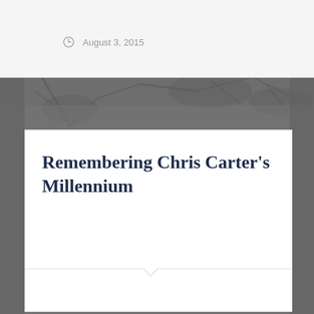[Figure (photo): Grayscale background photo of trees/forest]
August 3, 2015
Remembering Chris Carter's Millennium